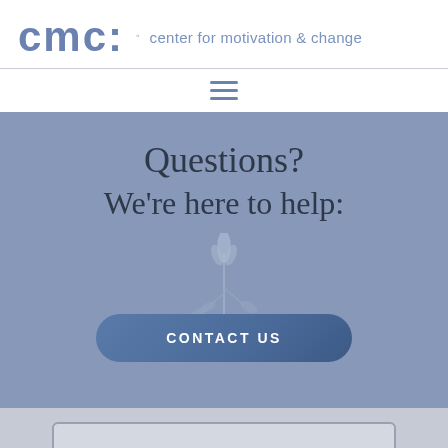[Figure (logo): CMC logo with blue text 'cmc:' and tagline 'center for motivation & change']
[Figure (other): Hamburger menu icon with three horizontal lines]
Questions?
We're here to help:
[Figure (illustration): Decorative botanical plant illustration in light blue-gray tones]
CONTACT US
[Figure (other): Bottom gray section with rounded rectangle form box]